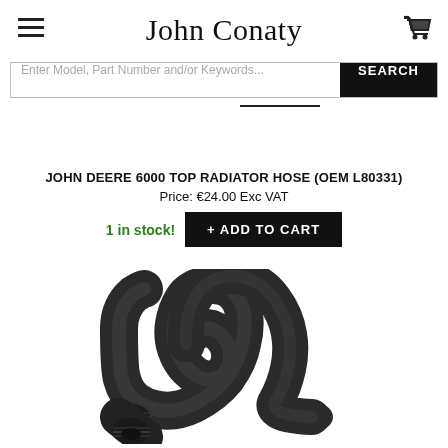[Figure (photo): Close-up of a black rubber radiator hose at the top of the page (cropped)]
John Conaty
Enter Model, Part Number and/or Keywords...
SEARCH
JOHN DEERE 6000 TOP RADIATOR HOSE (OEM L80331)
Price: €24.00 Exc VAT
1 in stock! + ADD TO CART
[Figure (photo): Black rubber radiator hose bent in an L/U shape, showing two connector ends, product photo on white background]